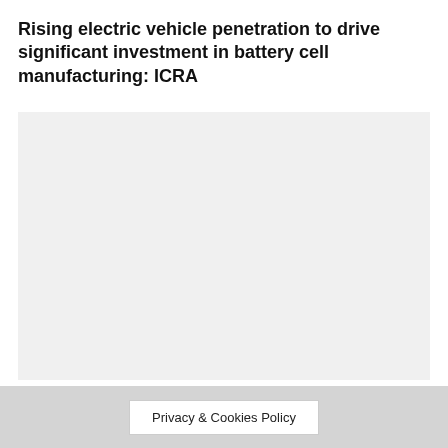Rising electric vehicle penetration to drive significant investment in battery cell manufacturing: ICRA
[Figure (photo): Large light gray rectangular image placeholder area below the title]
Privacy & Cookies Policy